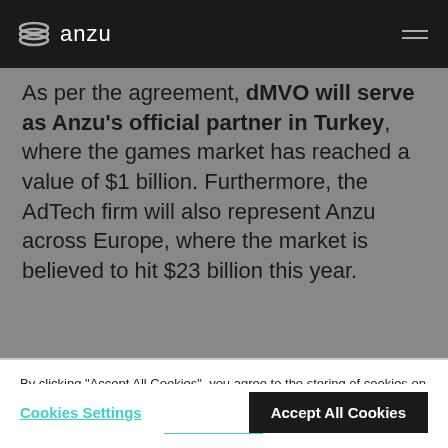anzu
As per the agreement, dMVO will serve as Anzu's official partner in Turkey, where the games market has reached a value of $1 billion. Furthermore, the AdTech firm will also represent Anzu across Europe, where the market is believed to hit $23 billion this year.
By clicking "Accept All Cookies", you agree to the storing of cookies on your device to enhance site navigation, analyze site usage, and assist in our marketing efforts. Cookie Policy
Cookies Settings
Accept All Cookies